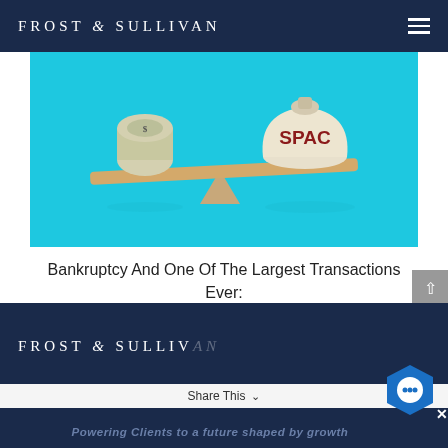FROST & SULLIVAN
[Figure (photo): A balance/seesaw with a rolled-up $100 bill on the left side and a fabric money bag labeled 'SPAC' in red text on the right side, against a bright cyan/blue background.]
Bankruptcy And One Of The Largest Transactions Ever: The Future Of SPAC Deals
[Figure (logo): Frost & Sullivan logo in white text on dark navy background, footer version]
Share This
Powering Clients to a future shaped by growth